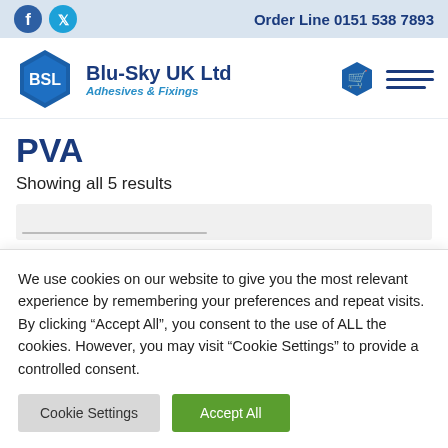Order Line 0151 538 7893
[Figure (logo): Blu-Sky UK Ltd BSL hexagon logo with text 'Blu-Sky UK Ltd Adhesives & Fixings']
PVA
Showing all 5 results
We use cookies on our website to give you the most relevant experience by remembering your preferences and repeat visits. By clicking “Accept All”, you consent to the use of ALL the cookies. However, you may visit “Cookie Settings” to provide a controlled consent.